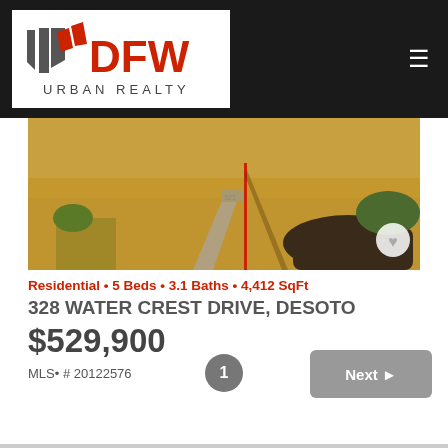DFW Urban Realty
[Figure (photo): Front yard of property at 328 Water Crest Drive, DeSoto — showing a concrete walkway through dry golden grass lawn with a landscaped bed on the right, and a red marker stake in the center]
Residential • 5 Beds • 3.1 Baths • 4,412 SqFt
328 WATER CREST DRIVE, DESOTO
$529,900
MLS• # 20122576
1
Next ▶